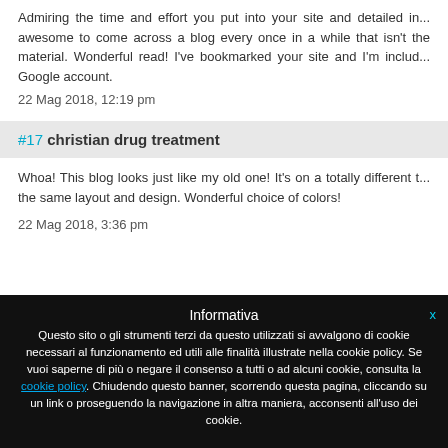Admiring the time and effort you put into your site and detailed in... awesome to come across a blog every once in a while that isn't the material. Wonderful read! I've bookmarked your site and I'm includ... Google account.
22 Mag 2018, 12:19 pm
#17 christian drug treatment
Whoa! This blog looks just like my old one! It's on a totally different t... the same layout and design. Wonderful choice of colors!
22 Mag 2018, 3:36 pm
Informativa
Questo sito o gli strumenti terzi da questo utilizzati si avvalgono di cookie necessari al funzionamento ed utili alle finalità illustrate nella cookie policy. Se vuoi saperne di più o negare il consenso a tutti o ad alcuni cookie, consulta la cookie policy. Chiudendo questo banner, scorrendo questa pagina, cliccando su un link o proseguendo la navigazione in altra maniera, acconsenti all'uso dei cookie.